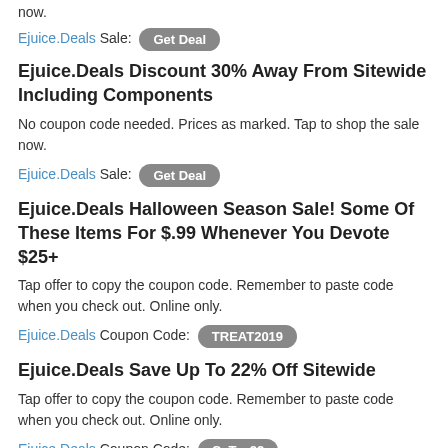now.
Ejuice.Deals Sale: Get Deal
Ejuice.Deals Discount 30% Away From Sitewide Including Components
No coupon code needed. Prices as marked. Tap to shop the sale now.
Ejuice.Deals Sale: Get Deal
Ejuice.Deals Halloween Season Sale! Some Of These Items For $.99 Whenever You Devote $25+
Tap offer to copy the coupon code. Remember to paste code when you check out. Online only.
Ejuice.Deals Coupon Code: TREAT2019
Ejuice.Deals Save Up To 22% Off Sitewide
Tap offer to copy the coupon code. Remember to paste code when you check out. Online only.
Ejuice.Deals Coupon Code: CaTax22